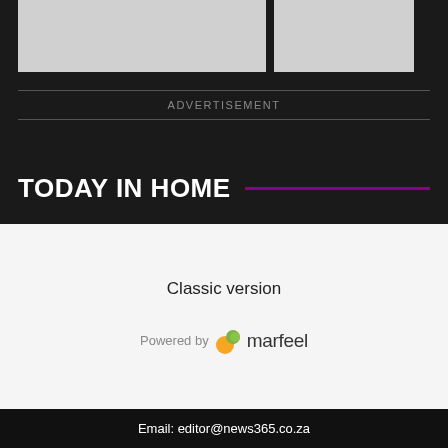[Figure (other): Two image placeholders side by side on dark background]
ADVERTISEMENT
TODAY IN HOME
Classic version
Powered by marfeel
Email: editor@news365.co.za